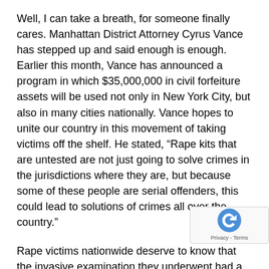Well, I can take a breath, for someone finally cares. Manhattan District Attorney Cyrus Vance has stepped up and said enough is enough. Earlier this month, Vance has announced a program in which $35,000,000 in civil forfeiture assets will be used not only in New York City, but also in many cities nationally. Vance hopes to unite our country in this movement of taking victims off the shelf. He stated, “Rape kits that are untested are not just going to solve crimes in the jurisdictions where they are, but because some of these people are serial offenders, this could lead to solutions of crimes all over the country.”
Rape victims nationwide deserve to know that the invasive examination they underwent had a purpose, and the resulting kit was not left to gather dust on a forgotten shelf” (NYTimes, “New York Initiative to Help Other Cities Rape-Kit Backlogs,” 11.12.14; CBSNY, “Manhattan Cyrus Vance’s Office To Fund Rape Kit Testing Nationally”)